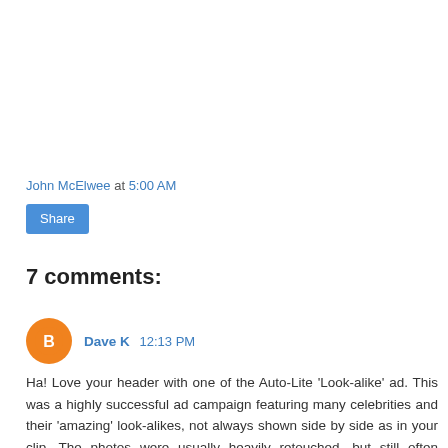John McElwee at 5:00 AM
Share
7 comments:
Dave K  12:13 PM
Ha! Love your header with one of the Auto-Lite 'Look-alike' ad. This was a highly successful ad campaign featuring many celebrities and their 'amazing' look-alikes, not always shown side by side as in your clip. The photos were usually heavily retouched, but still often startling... and sometimes not. No matter what the ad copy claimed, nobody was ever